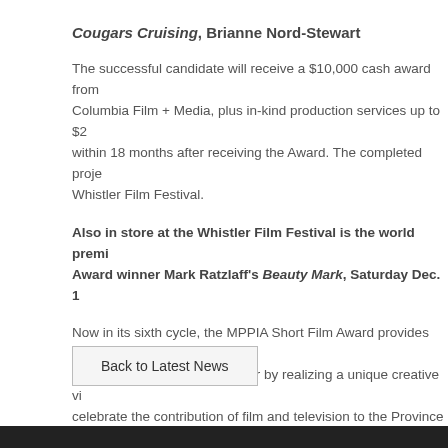Cougars Cruising, Brianne Nord-Stewart
The successful candidate will receive a $10,000 cash award from Columbia Film + Media, plus in-kind production services up to $2 within 18 months after receiving the Award. The completed proje Whistler Film Festival.
Also in store at the Whistler Film Festival is the world premi Award winner Mark Ratzlaff's Beauty Mark, Saturday Dec. 1
Now in its sixth cycle, the MPPIA Short Film Award provides one develop his/her directing career by realizing a unique creative vi celebrate the contribution of film and television to the Province o
Back to Latest News